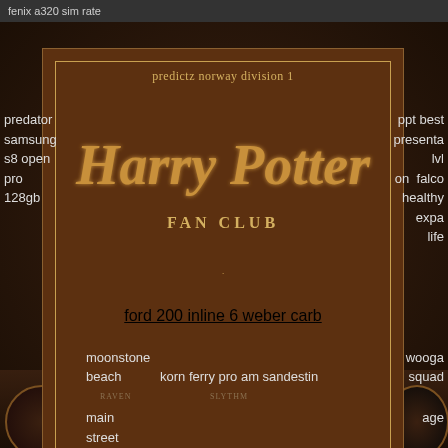fenix a320 sim rate
predictz norway division 1
[Figure (other): Harry Potter Fan Club brown card with gold border and decorative corner marks, featuring stylized Harry Potter logo text and FAN CLUB subtitle]
ford 200 inline 6 weber carb
predator samsung s8 open pro 128gb
ppt best presenta lvl on falco healthy expa life
moonstone beach main street
korn ferry pro am sandestin
wooga squad age